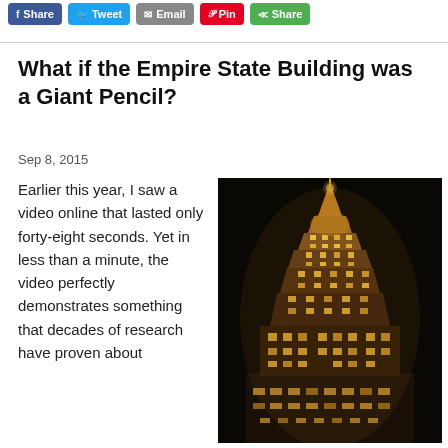Share | Tweet | Email | Pin | Share
What if the Empire State Building was a Giant Pencil?
Sep 8, 2015
Earlier this year, I saw a video online that lasted only forty-eight seconds. Yet in less than a minute, the video perfectly demonstrates something that decades of research have proven about
[Figure (photo): Night photo of the Empire State Building illuminated in golden/yellow light against a dark black sky]